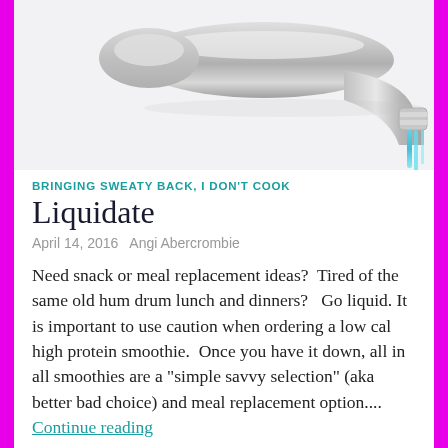[Figure (photo): Close-up photo of a chrome water faucet tap with water streaming from the spout, on a white background.]
BRINGING SWEATY BACK, I DON'T COOK
Liquidate
April 14, 2016   Angi Abercrombie
Need snack or meal replacement ideas?  Tired of the same old hum drum lunch and dinners?   Go liquid. It is important to use caution when ordering a low cal high protein smoothie.  Once you have it down, all in all smoothies are a "simple savvy selection" (aka better bad choice) and meal replacement option.... Continue reading